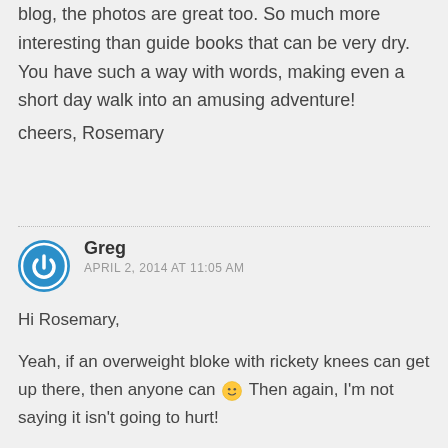blog, the photos are great too. So much more interesting than guide books that can be very dry. You have such a way with words, making even a short day walk into an amusing adventure!
cheers, Rosemary
Greg
APRIL 2, 2014 AT 11:05 AM

Hi Rosemary,

Yeah, if an overweight bloke with rickety knees can get up there, then anyone can 🙂 Then again, I'm not saying it isn't going to hurt!